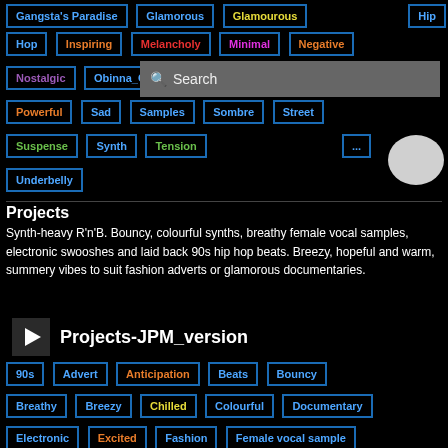Gangsta's Paradise
Glamorous
Glamourous
Hip
Hop
Inspiring
Melancholy
Minimal
Negative
Nostalgic
Obinna_O
Orchestral
Orchestral Strings
Powerful
Sad
Samples
Sombre
Street
Suspense
Synth
Tension
Underbelly
Projects
Synth-heavy R'n'B. Bouncy, colourful synths, breathy female vocal samples, electronic swooshes and laid back 90s hip hop beats. Breezy, hopeful and warm, summery vibes to suit fashion adverts or glamorous documentaries.
Projects-JPM_version
90s
Advert
Anticipation
Beats
Bouncy
Breathy
Breezy
Chilled
Colourful
Documentary
Electronic
Excited
Fashion
Female vocal sample